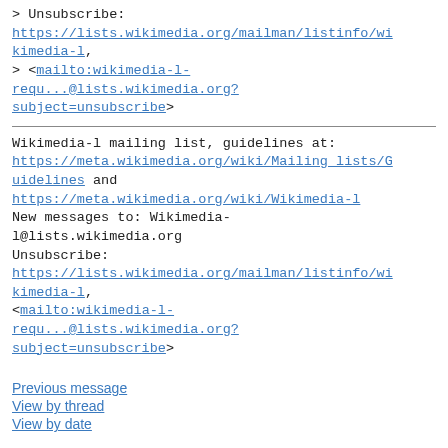> Unsubscribe:
https://lists.wikimedia.org/mailman/listinfo/wikimedia-l,
> <mailto:wikimedia-l-requ...@lists.wikimedia.org?subject=unsubscribe>
Wikimedia-l mailing list, guidelines at:
https://meta.wikimedia.org/wiki/Mailing_lists/Guidelines and
https://meta.wikimedia.org/wiki/Wikimedia-l
New messages to: Wikimedia-l@lists.wikimedia.org
Unsubscribe:
https://lists.wikimedia.org/mailman/listinfo/wikimedia-l,
<mailto:wikimedia-l-requ...@lists.wikimedia.org?subject=unsubscribe>
Previous message
View by thread
View by date